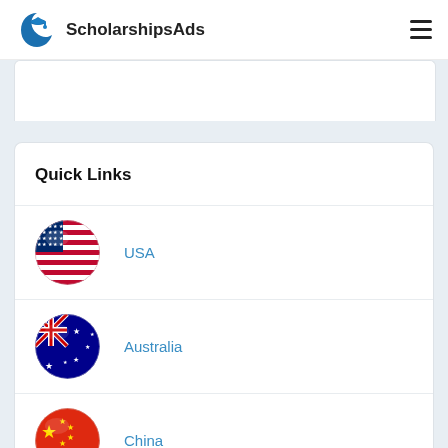ScholarshipsAds
Quick Links
USA
Australia
China